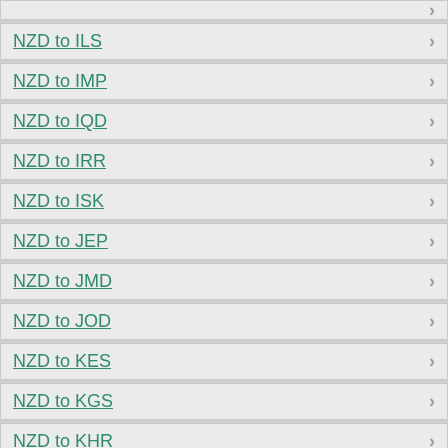NZD to ILS
NZD to IMP
NZD to IQD
NZD to IRR
NZD to ISK
NZD to JEP
NZD to JMD
NZD to JOD
NZD to KES
NZD to KGS
NZD to KHR
NZD to KMF